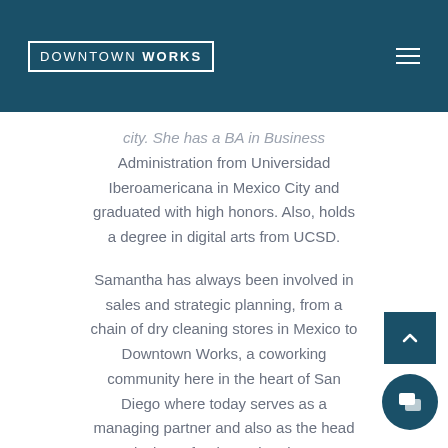DOWNTOWN WORKS
city. She has a BA in Business Administration from Universidad Iberoamericana in Mexico City and graduated with high honors. Also, holds a degree in digital arts from UCSD.
Samantha has always been involved in sales and strategic planning, from a chain of dry cleaning stores in Mexico to Downtown Works, a coworking community here in the heart of San Diego where today serves as a managing partner and also as the head designer for the entire place.
She was heavily involved as a co-chair in an organization called “padres para